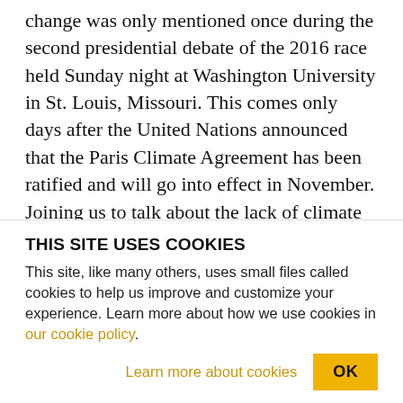change was only mentioned once during the second presidential debate of the 2016 race held Sunday night at Washington University in St. Louis, Missouri. This comes only days after the United Nations announced that the Paris Climate Agreement has been ratified and will go into effect in November. Joining us to talk about the lack of climate discussion debates, from New York City, Chris Williams is joining us. He is a long time environmental activist. He's also professor of physics and chemistry at Pace University. He's also the chair
THIS SITE USES COOKIES
This site, like many others, uses small files called cookies to help us improve and customize your experience. Learn more about how we use cookies in our cookie policy.
Learn more about cookies   OK